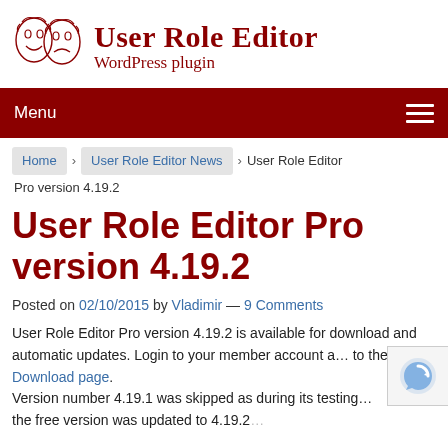[Figure (logo): Two comedy/tragedy theatrical masks drawn in red ink, side by side]
User Role Editor
WordPress plugin
Menu
Home › User Role Editor News › User Role Editor Pro version 4.19.2
User Role Editor Pro version 4.19.2
Posted on 02/10/2015 by Vladimir — 9 Comments
User Role Editor Pro version 4.19.2 is available for download and automatic updates. Login to your member account a… to the Download page.
Version number 4.19.1 was skipped as during its testing… the free version was updated to 4.19.2